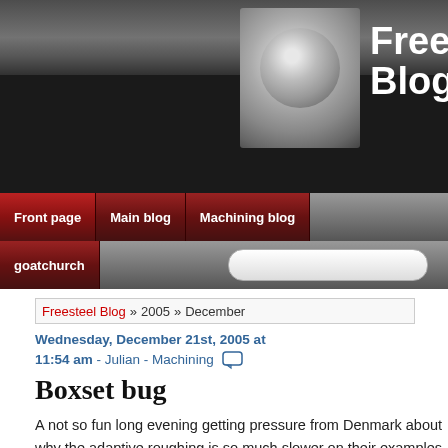[Figure (screenshot): Freesteel Blog website header with dark background, logo image, and site title text]
Freesteel Blog
Front page | Main blog | Machining blog | goatchurch
Freesteel Blog » 2005 » December
Wednesday, December 21st, 2005 at 11:54 am - Julian - Machining
Boxset bug
A not so fun long evening getting pressure from Denmark about why the adaptive roughing is so much slower on their examples than it was last September.
I've done a lot of coding in the intervening period, so it could be anything. Rene started doing a binary search of the
Machining
Adaptive
Flightlogger  Vero
Uncategorized
Weekends
Canyon  Cave
Hang-glide  Kayak
Dive
Whipping  DL
UN
Last Posts
Last
Comments